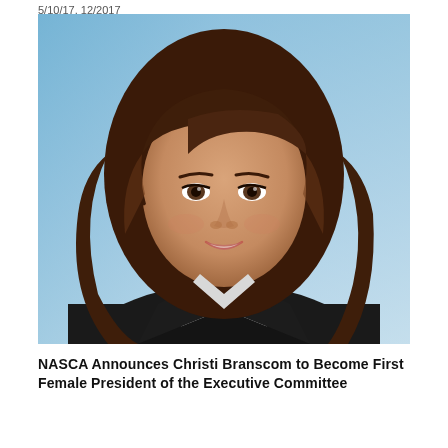5/10/17, 12/2017
[Figure (photo): Professional headshot of a woman with brown shoulder-length hair, wearing a black blazer and white shirt, against a blue gradient background.]
NASCA Announces Christi Branscom to Become First Female President of the Executive Committee